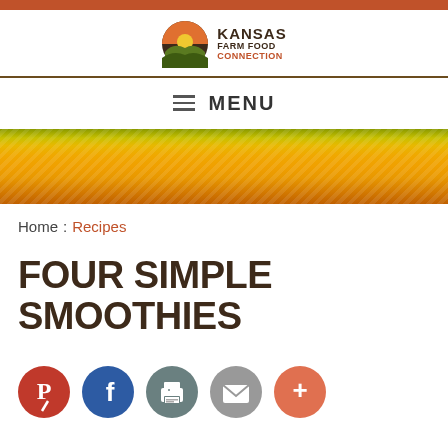Kansas Farm Food Connection
≡  MENU
[Figure (illustration): Orange/yellow/green gradient banner with diagonal stripe texture]
Home : Recipes
FOUR SIMPLE SMOOTHIES
[Figure (infographic): Social sharing icons row: Pinterest (red), Facebook (blue), Print (teal), Email (grey), More (orange)]